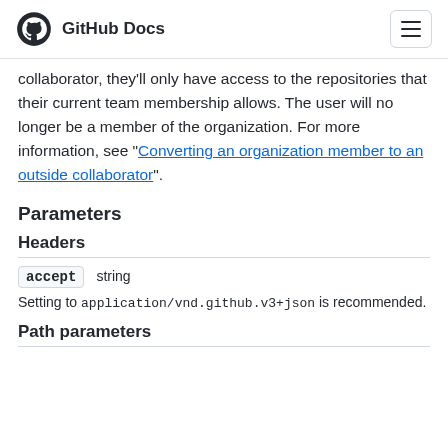GitHub Docs
collaborator, they'll only have access to the repositories that their current team membership allows. The user will no longer be a member of the organization. For more information, see "Converting an organization member to an outside collaborator".
Parameters
Headers
accept   string
Setting to application/vnd.github.v3+json is recommended.
Path parameters